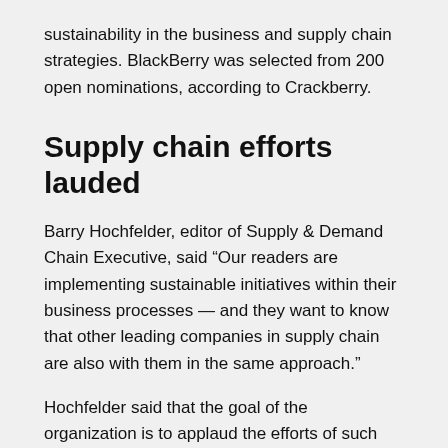sustainability in the business and supply chain strategies. BlackBerry was selected from 200 open nominations, according to Crackberry.
Supply chain efforts lauded
Barry Hochfelder, editor of Supply & Demand Chain Executive, said “Our readers are implementing sustainable initiatives within their business processes — and they want to know that other leading companies in supply chain are also with them in the same approach.”
Hochfelder said that the goal of the organization is to applaud the efforts of such companies and credit them with the recognition they are worthy of. The editor added that the first step is to recognize the point where to start when initiating a ‘green’ plan in one’s business, which is not always